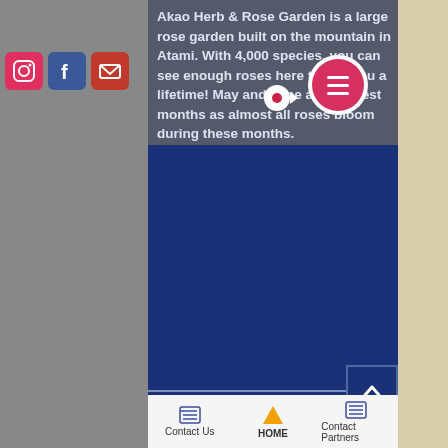[Figure (screenshot): Website screenshot showing Akao Herb & Rose Garden description, social media icons (Instagram, Facebook, email), navigation hamburger menu, Hot Air Balloon Riding section header in gold on dark blue, and bottom navigation bar with Contact Us, HOME, Contact Partners links.]
Akao Herb & Rose Garden is a large rose garden built on the mountain in Atami. With 4,000 species, you can see enough roses here to last you a lifetime! May and June are the best months as almost all roses bloom during these months.
Hot Air Balloon Riding
Contact Us | HOME | Contact Partners